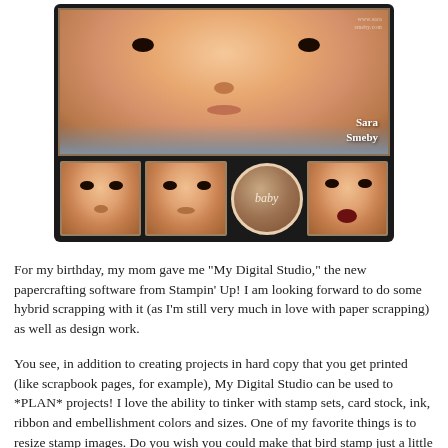[Figure (photo): Scrapbook-style photo collage of a baby. Large main photo of baby's face at top, with watermark 'www.sarasmeby.com' and name 'Sara Smeby'. Three thumbnail photos of baby below, with a brown circular 'baby' emblem in the middle of the thumbnail row.]
For my birthday, my mom gave me "My Digital Studio," the new papercrafting software from Stampin' Up! I am looking forward to do some hybrid scrapping with it (as I'm still very much in love with paper scrapping) as well as design work.
You see, in addition to creating projects in hard copy that you get printed (like scrapbook pages, for example), My Digital Studio can be used to *PLAN* projects! I love the ability to tinker with stamp sets, card stock, ink, ribbon and embellishment colors and sizes. One of my favorite things is to resize stamp images. Do you wish you could make that bird stamp just a little bigger (or smaller)? Done!